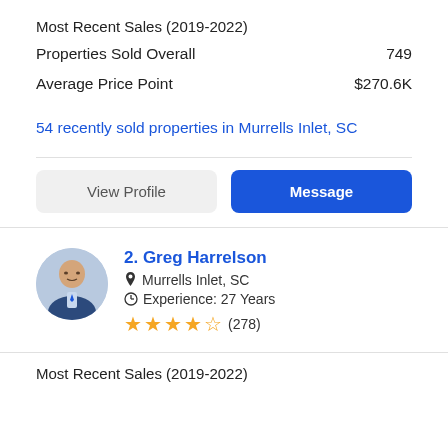Most Recent Sales (2019-2022)
Properties Sold Overall   749
Average Price Point   $270.6K
54 recently sold properties in Murrells Inlet, SC
View Profile
Message
2. Greg Harrelson
Murrells Inlet, SC
Experience: 27 Years
★★★★☆ (278)
Most Recent Sales (2019-2022)